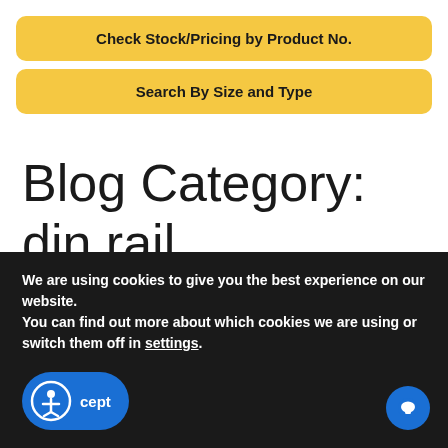[Figure (other): Yellow button: Check Stock/Pricing by Product No.]
[Figure (other): Yellow button: Search By Size and Type]
Blog Category: din rail
Bud Industries CEO Podcast Part 1 with Women in Electronics
AUGUST 10, 2020 by Bud In...
We are using cookies to give you the best experience on our website.
You can find out more about which cookies we are using or switch them off in settings.